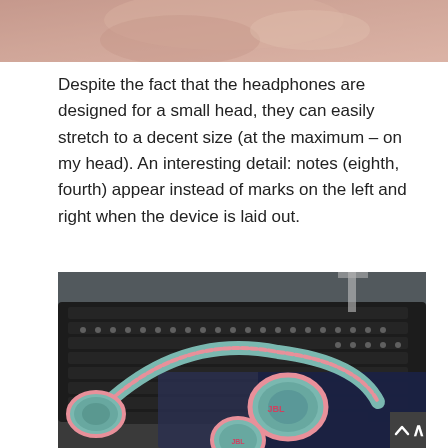[Figure (photo): Partial photo at top of page, showing a hand or fingers, cropped, with pink/skin tone colors]
Despite the fact that the headphones are designed for a small head, they can easily stretch to a decent size (at the maximum – on my head). An interesting detail: notes (eighth, fourth) appear instead of marks on the left and right when the device is laid out.
[Figure (photo): Photo of JBL headphones (teal/mint and pink colored) laid flat on a desk next to a black keyboard, with a mouse pad visible underneath]